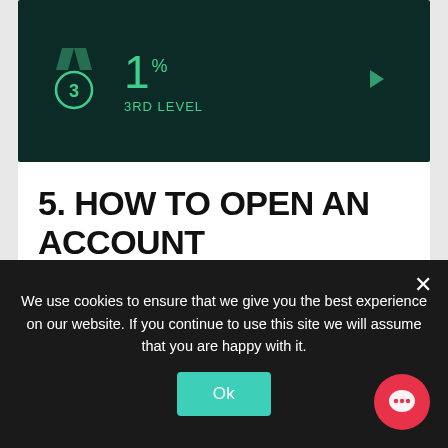[Figure (screenshot): Dark green banner showing a bronze medal icon, '1%' in teal, and '3RD LEVEL' label below, with a right arrow on the far right]
5. HOW TO OPEN AN ACCOUNT
1. If you want to create an account in this hyip program, go to the main page of the program, find the button “GET STARTED” or “SIGNUP” and click.
We use cookies to ensure that we give you the best experience on our website. If you continue to use this site we will assume that you are happy with it.
Ok